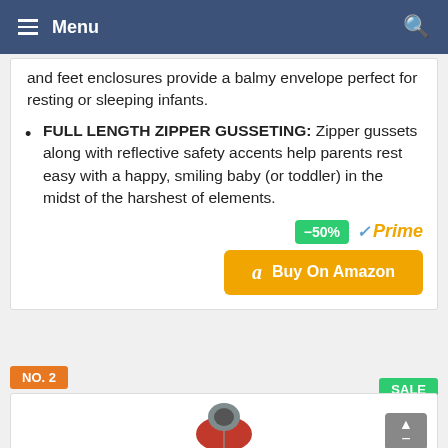Menu
and feet enclosures provide a balmy envelope perfect for resting or sleeping infants.
FULL LENGTH ZIPPER GUSSETING: Zipper gussets along with reflective safety accents help parents rest easy with a happy, smiling baby (or toddler) in the midst of the harshest of elements.
[Figure (other): Amazon Prime badge with -50% discount label and Buy On Amazon button]
NO. 2
[Figure (other): SALE badge and partial product image of a sleeping bag]